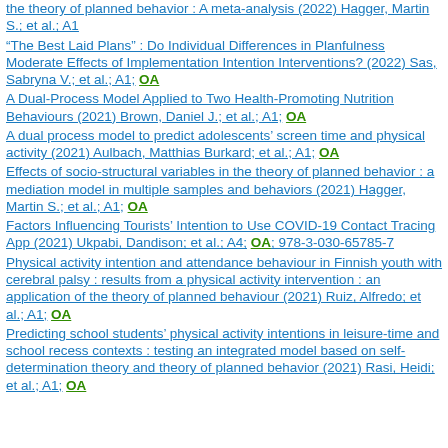the theory of planned behavior : A meta-analysis (2022) Hagger, Martin S.; et al.; A1
“The Best Laid Plans” : Do Individual Differences in Planfulness Moderate Effects of Implementation Intention Interventions? (2022) Sas, Sabryna V.; et al.; A1; OA
A Dual-Process Model Applied to Two Health-Promoting Nutrition Behaviours (2021) Brown, Daniel J.; et al.; A1; OA
A dual process model to predict adolescents’ screen time and physical activity (2021) Aulbach, Matthias Burkard; et al.; A1; OA
Effects of socio-structural variables in the theory of planned behavior : a mediation model in multiple samples and behaviors (2021) Hagger, Martin S.; et al.; A1; OA
Factors Influencing Tourists’ Intention to Use COVID-19 Contact Tracing App (2021) Ukpabi, Dandison; et al.; A4; OA; 978-3-030-65785-7
Physical activity intention and attendance behaviour in Finnish youth with cerebral palsy : results from a physical activity intervention : an application of the theory of planned behaviour (2021) Ruiz, Alfredo; et al.; A1; OA
Predicting school students’ physical activity intentions in leisure-time and school recess contexts : testing an integrated model based on self-determination theory and theory of planned behavior (2021) Rasi, Heidi; et al.; A1; OA